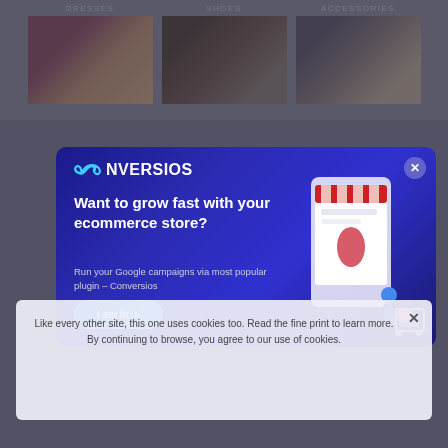[Figure (screenshot): E-commerce website screenshot showing three product category sections: DRESSES (woman in red dress on beach), SHOES (sandals on feet), and ACCESSORIES (woman in hat). A Conversios plugin popup modal overlays the center of the page with dark blue background, showing the Conversios logo, headline 'Want to grow fast with your ecommerce store?', subtext 'Run your Google campaigns via most popular plugin – Conversios', a blue 'I am in' button, and an illustrated graphic of a woman with a shopping cart. A cookie consent banner appears at the bottom reading: 'Like every other site, this one uses cookies too. Read the fine print to learn more. By continuing to browse, you agree to our use of cookies.']